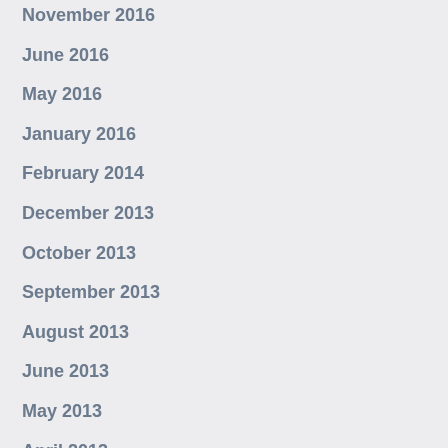November 2016
June 2016
May 2016
January 2016
February 2014
December 2013
October 2013
September 2013
August 2013
June 2013
May 2013
April 2013
March 2013
February 2013
January 2013
December 2012